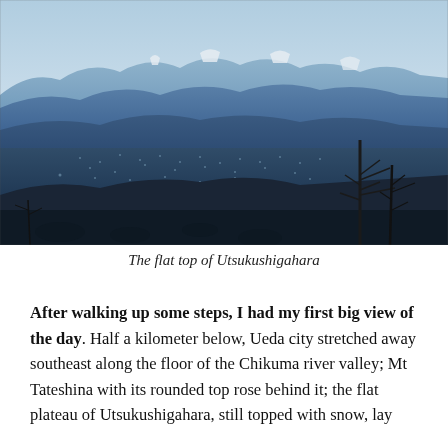[Figure (photo): Panoramic photograph of a valley city viewed from a mountain slope. In the foreground are bare winter trees. The middle ground shows Ueda city spread across a wide valley floor. Behind rises multiple ridgelines of blue-hued mountains, with snow-capped peaks visible in the far distance under a pale blue sky.]
The flat top of Utsukushigahara
After walking up some steps, I had my first big view of the day. Half a kilometer below, Ueda city stretched away southeast along the floor of the Chikuma river valley; Mt Tateshina with its rounded top rose behind it; the flat plateau of Utsukushigahara, still topped with snow, lay